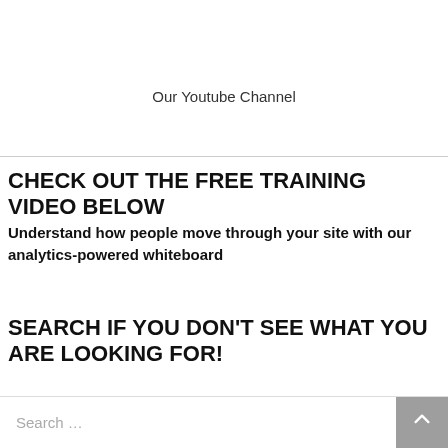Our Youtube Channel
CHECK OUT THE FREE TRAINING VIDEO BELOW
Understand how people move through your site with our analytics-powered whiteboard
SEARCH IF YOU DON'T SEE WHAT YOU ARE LOOKING FOR!
Search …